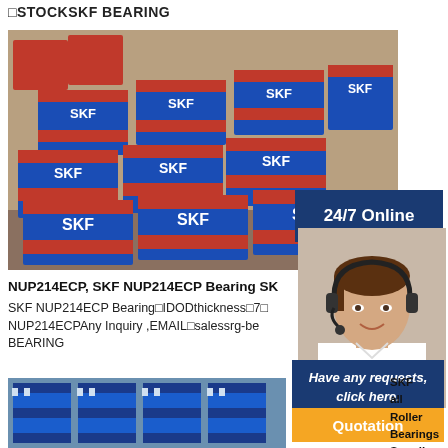□STOCKSKF BEARING
[Figure (photo): Warehouse stacked with SKF bearing boxes in blue and red packaging]
[Figure (photo): 24/7 Online overlay on dark blue background]
[Figure (photo): Customer service agent woman wearing headset, smiling]
NUP214ECP, SKF NUP214ECP Bearing SK
SKF NUP214ECP Bearing□IDODthickness□7□ NUP214ECPAny Inquiry ,EMAIL□salessrg-be BEARING
[Figure (photo): Warehouse with large stacked blue industrial bearing boxes]
Have any requests, click here.
Quotation
SKF all Roller Bearings Supplier Bearinga